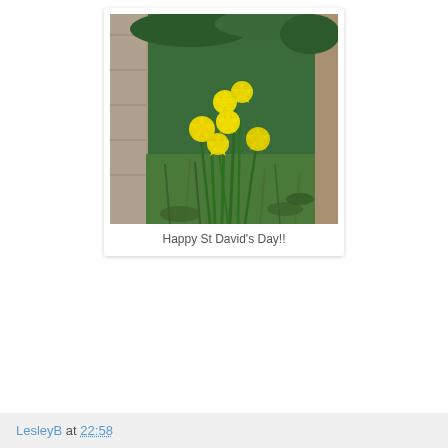[Figure (photo): Photograph of yellow daffodil flowers growing against a stone wall in a garden, with green grass and foliage in the background.]
Happy St David's Day!!
LesleyB at 22:58